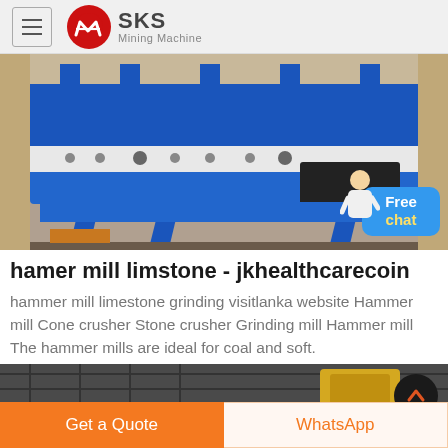[Figure (logo): SKS Mining Machine logo with red circle emblem and hamburger menu icon]
[Figure (photo): Large industrial hammer mill / vibrating screen machine in blue and white colors inside a warehouse]
hamer mill limstone - jkhealthcarecoin
hammer mill limestone grinding visitlanka website Hammer mill Cone crusher Stone crusher Grinding mill Hammer mill The hammer mills are ideal for coal and soft.
[Figure (photo): Second industrial machinery image partially visible at the bottom, with a scroll-to-top button overlay]
Get a Quote
WhatsApp